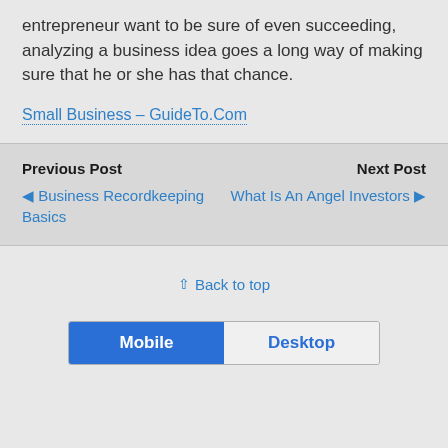entrepreneur want to be sure of even succeeding, analyzing a business idea goes a long way of making sure that he or she has that chance.
Small Business – GuideTo.Com
Previous Post
◀ Business Recordkeeping Basics
Next Post
What Is An Angel Investors ▶
⇪ Back to top
Mobile   Desktop